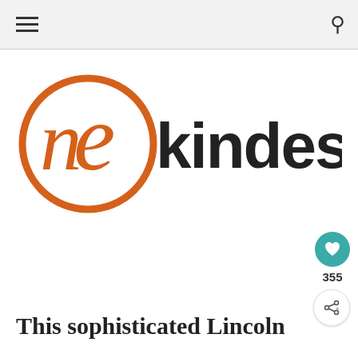[Figure (logo): One Kindesign logo: orange circle with stylized 'ne' letters inside, followed by 'kindesign' in dark sans-serif text]
355
This sophisticated Lincoln